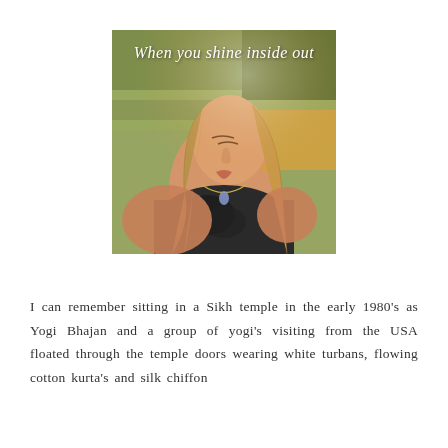[Figure (photo): A young woman with long blonde hair, eyes closed, face tilted upward toward sunlight, wearing a dark lace top with a necklace. She appears to be leaning against something textured outdoors with trees/grass in background. Overlaid italic white cursive text reads: 'When you shine inside out']
I can remember sitting in a Sikh temple in the early 1980's as Yogi Bhajan and a group of yogi's visiting from the USA floated through the temple doors wearing white turbans, flowing cotton kurta's and silk chiffon